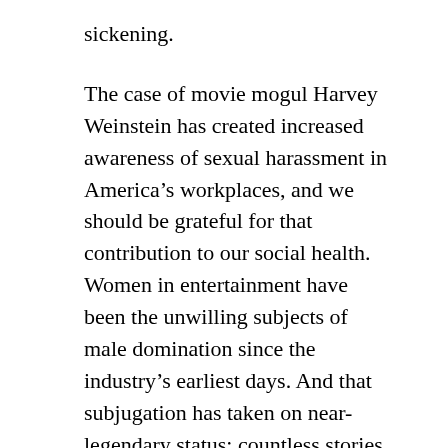sickening.
The case of movie mogul Harvey Weinstein has created increased awareness of sexual harassment in America's workplaces, and we should be grateful for that contribution to our social health. Women in entertainment have been the unwilling subjects of male domination since the industry's earliest days. And that subjugation has taken on near-legendary status: countless stories of leering producers and casting couches and coerced dressing room assignations.
That a powerful man in Hollywood preys upon the beautiful, young and powerless can be no